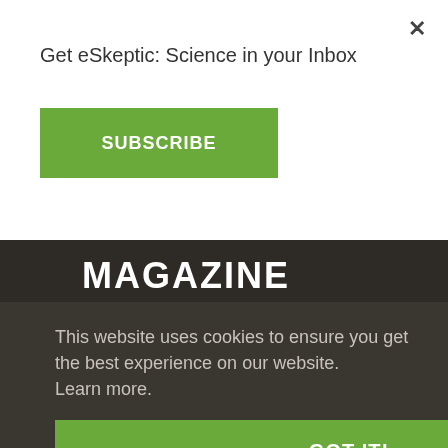Get eSkeptic: Science in your Inbox
×
SUBSCRIBE
MAGAZINE
Current Issue
Subscribe/Renew (Print)
This website uses cookies to ensure you get the best experience on our website. Learn more.
GOT IT!